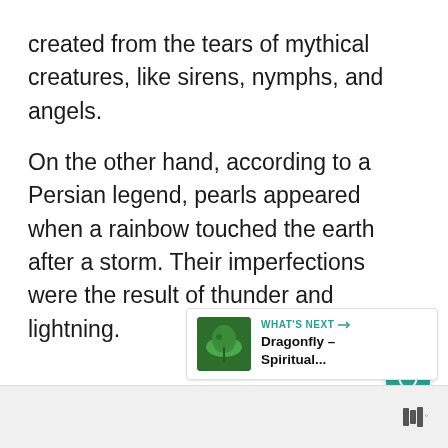created from the tears of mythical creatures, like sirens, nymphs, and angels.
On the other hand, according to a Persian legend, pearls appeared when a rainbow touched the earth after a storm. Their imperfections were the result of thunder and lightning.